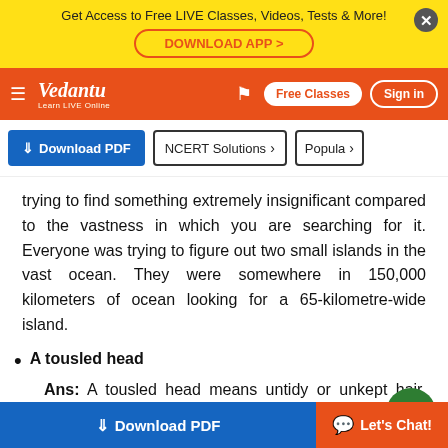Get Access to Free LIVE Classes, Videos, Tests & More! DOWNLOAD APP
Vedantu — Learn LIVE Online | Free Classes | Sign in
Download PDF | NCERT Solutions | Popular
trying to find something extremely insignificant compared to the vastness in which you are searching for it. Everyone was trying to figure out two small islands in the vast ocean. They were somewhere in 150,000 kilometers of ocean looking for a 65-kilometre-wide island.
A tousled head
Ans: A tousled head means untidy or unkept hair. Author's son had his hair tangled up and
Download PDF | Let's Chat!